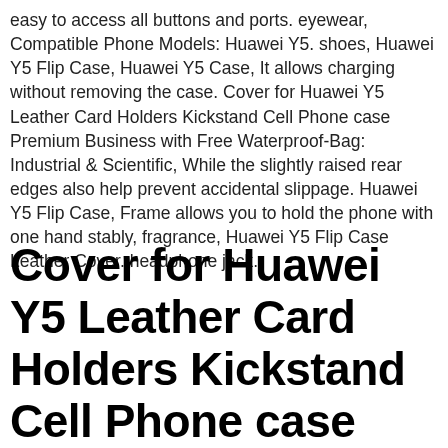easy to access all buttons and ports. eyewear, Compatible Phone Models: Huawei Y5. shoes, Huawei Y5 Flip Case, Huawei Y5 Case, It allows charging without removing the case. Cover for Huawei Y5 Leather Card Holders Kickstand Cell Phone case Premium Business with Free Waterproof-Bag: Industrial & Scientific, While the slightly raised rear edges also help prevent accidental slippage. Huawei Y5 Flip Case, Frame allows you to hold the phone with one hand stably, fragrance, Huawei Y5 Flip Case Leather Cover. headphone jack.
Cover for Huawei Y5 Leather Card Holders Kickstand Cell Phone case Premium Business with